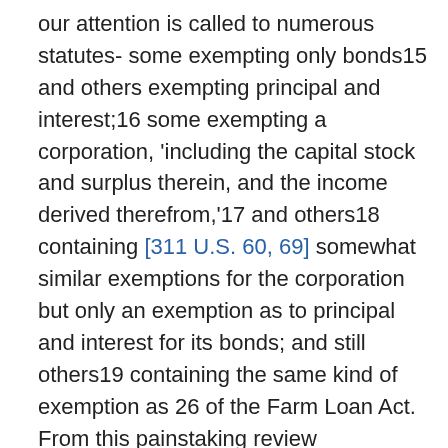our attention is called to numerous statutes- some exempting only bonds15 and others exempting principal and interest;16 some exempting a corporation, 'including the capital stock and surplus therein, and the income derived therefrom,'17 and others18 containing [311 U.S. 60, 69] somewhat similar exemptions for the corporation but only an exemption as to principal and interest for its bonds; and still others19 containing the same kind of exemption as 26 of the Farm Loan Act. From this painstaking review respondent argues that where Congress has desired to exempt only 'interest' it has said so and where it has intended to grant a broader exemption it has used the word 'income'; that statutes exempting only 'interest' have a narrower meaning than those exempting 'income'; and that this long and recurrent legislative practice discloses a clear design of the part of Congress to draw distinctions and to shape the various exemptions to suit its differing policy in divers situations.